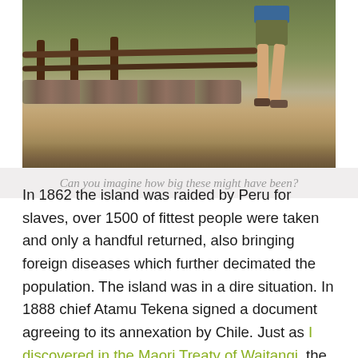[Figure (photo): Person standing near a wooden fence rail above a stone wall on grassy terrain. Only the lower body (shorts, legs, shoes) visible. Green grass in background.]
Can you imagine how big these might have been?
In 1862 the island was raided by Peru for slaves, over 1500 of fittest people were taken and only a handful returned, also bringing foreign diseases which further decimated the population. The island was in a dire situation. In 1888 chief Atamu Tekena signed a document agreeing to its annexation by Chile. Just as I discovered in the Maori Treaty of Waitangi, the translation into RapaNui leaves quite a bit to be desired in helping islanders understand what they were actually signing up to. The Rapanui were only given full Chilean